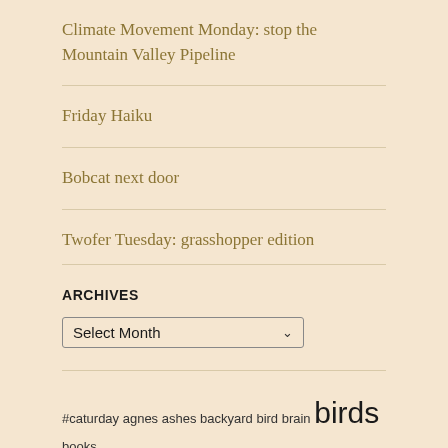Climate Movement Monday: stop the Mountain Valley Pipeline
Friday Haiku
Bobcat next door
Twofer Tuesday: grasshopper edition
ARCHIVES
Select Month
#caturday agnes ashes backyard bird brain birds books